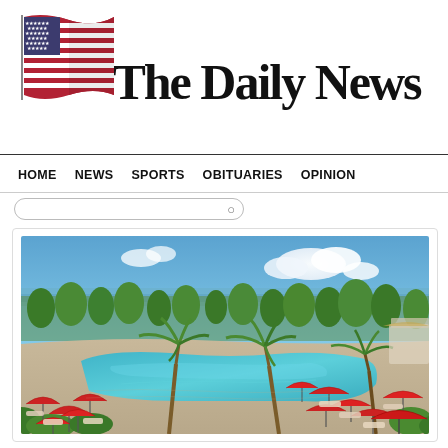[Figure (logo): The Daily News newspaper masthead with American flag logo on the left and blackletter title text 'The Daily News']
HOME   NEWS   SPORTS   OBITUARIES   OPINION
[Figure (photo): Aerial/elevated view of a tropical resort pool area with red umbrellas and lounge chairs surrounding a large curved swimming pool, palm trees, lush greenery, and the ocean visible in the background under a blue sky with white clouds.]